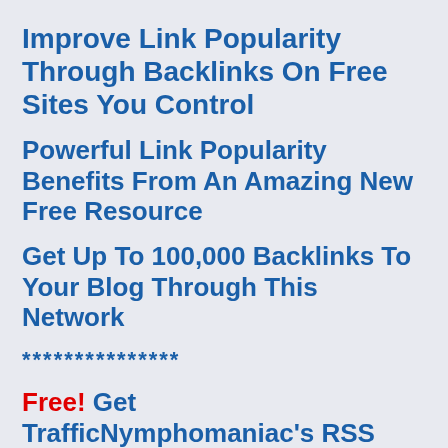Improve Link Popularity Through Backlinks On Free Sites You Control
Powerful Link Popularity Benefits From An Amazing New Free Resource
Get Up To 100,000 Backlinks To Your Blog Through This Network
***************
Free! Get TrafficNymphomaniac's RSS feed